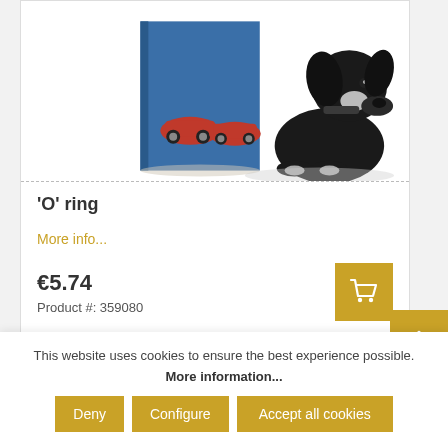[Figure (photo): Product image showing a black dog sitting next to a car catalog/book with red classic cars on the cover, against a white background.]
'O' ring
More info...
€5.74
Product #: 359080
This website uses cookies to ensure the best experience possible. More information...